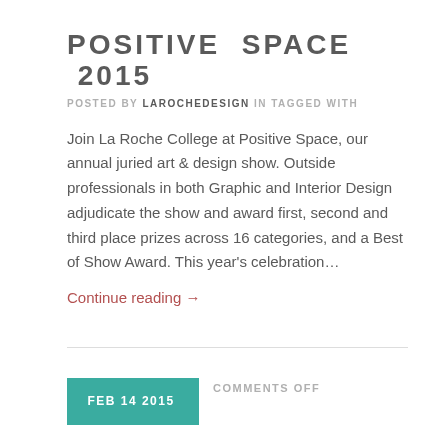POSITIVE SPACE 2015
POSTED BY LAROCHEDESIGN IN TAGGED WITH
Join La Roche College at Positive Space, our annual juried art & design show. Outside professionals in both Graphic and Interior Design adjudicate the show and award first, second and third place prizes across 16 categories, and a Best of Show Award. This year’s celebration…
Continue reading →
FEB 14 2015   COMMENTS OFF
2015 SCHOLASTIC VISIONARY ART INSTINCTS ART AWARDS